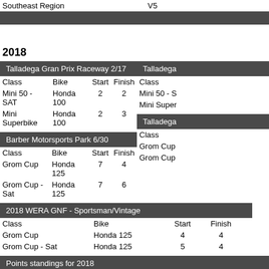|  | V5 |
| --- | --- |
| Southeast Region | V5 |
2018
| Class | Bike | Start | Finish |
| --- | --- | --- | --- |
| Mini 50 - SAT | Honda 100 | 2 | 2 |
| Mini Superbike | Honda 100 | 2 | 3 |
| Class | Bike | Start | Finish |
| --- | --- | --- | --- |
| Grom Cup | Honda 125 | 7 | 4 |
| Grom Cup - Sat | Honda 125 | 7 | 6 |
| Class | Bike | Start | Finish |
| --- | --- | --- | --- |
| Grom Cup | Honda 125 | 4 | 4 |
| Grom Cup - Sat | Honda 125 | 5 | 4 |
| Region | Class |
| --- | --- |
| Mid Central Region | Grom Cup |
| Southeast Region | Grom Cup |
| Mid Central Region | Mini Superbike |